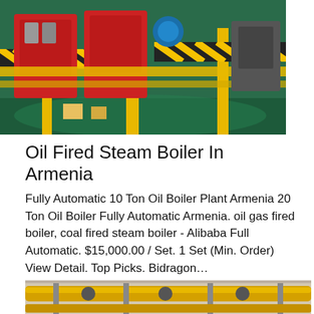[Figure (photo): Industrial boiler equipment room with red burner units, yellow pipes and safety-striped beams on a green floor]
Oil Fired Steam Boiler In Armenia
Fully Automatic 10 Ton Oil Boiler Plant Armenia 20 Ton Oil Boiler Fully Automatic Armenia. oil gas fired boiler, coal fired steam boiler - Alibaba Full Automatic. $15,000.00 / Set. 1 Set (Min. Order) View Detail. Top Picks. Bidragon…
Get Price
[Figure (photo): Industrial boiler room interior showing yellow pipes, valves, and equipment along ceiling and walls]